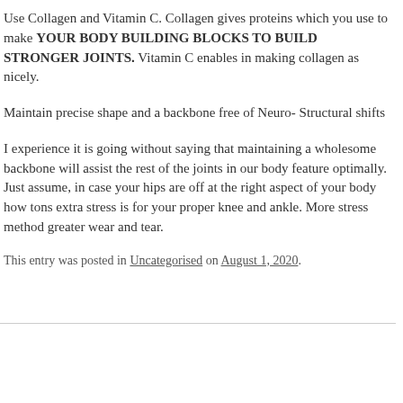Use Collagen and Vitamin C. Collagen gives proteins which you use to make YOUR BODY BUILDING BLOCKS TO BUILD STRONGER JOINTS. Vitamin C enables in making collagen as nicely.
Maintain precise shape and a backbone free of Neuro- Structural shifts
I experience it is going without saying that maintaining a wholesome backbone will assist the rest of the joints in our body feature optimally. Just assume, in case your hips are off at the right aspect of your body how tons extra stress is for your proper knee and ankle. More stress method greater wear and tear.
This entry was posted in Uncategorised on August 1, 2020.